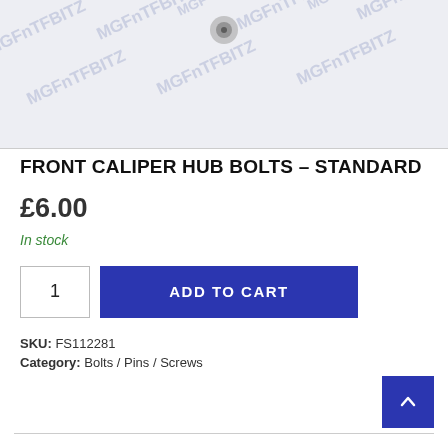[Figure (photo): Product photo of front caliper hub bolts with MGFnTFBITZ watermark repeated across the image background]
FRONT CALIPER HUB BOLTS – STANDARD
£6.00
In stock
SKU: FS112281
Category: Bolts / Pins / Screws